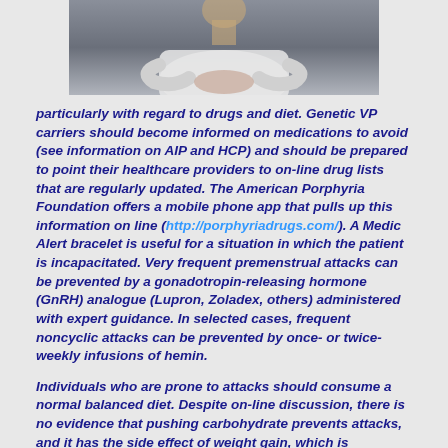[Figure (photo): Partial photo of a person in white clothing holding their abdomen area, cropped at the top of the page.]
particularly with regard to drugs and diet. Genetic VP carriers should become informed on medications to avoid (see information on AIP and HCP) and should be prepared to point their healthcare providers to on-line drug lists that are regularly updated. The American Porphyria Foundation offers a mobile phone app that pulls up this information on line (http://porphyriadrugs.com/). A Medic Alert bracelet is useful for a situation in which the patient is incapacitated. Very frequent premenstrual attacks can be prevented by a gonadotropin-releasing hormone (GnRH) analogue (Lupron, Zoladex, others) administered with expert guidance. In selected cases, frequent noncyclic attacks can be prevented by once- or twice-weekly infusions of hemin.
Individuals who are prone to attacks should consume a normal balanced diet. Despite on-line discussion, there is no evidence that pushing carbohydrate prevents attacks, and it has the side effect of weight gain, which is undesirable for most people. Fasting, fad diets (for example, high protein) and gastric reduction surgery should be avoided. If weight loss is desired, it is advisable to consult a physician and a dietitian about an individualized diet with modest caloric restriction (ca.